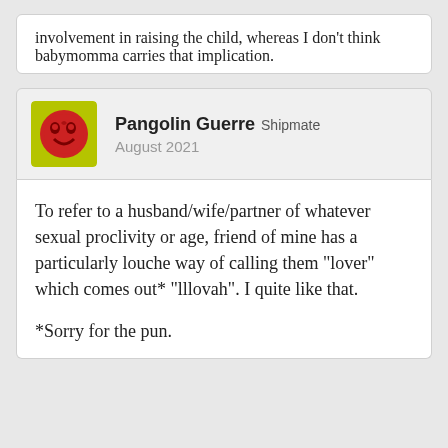involvement in raising the child, whereas I don't think babymomma carries that implication.
Pangolin Guerre Shipmate
August 2021
To refer to a husband/wife/partner of whatever sexual proclivity or age, friend of mine has a particularly louche way of calling them "lover" which comes out* "lllovah". I quite like that.

*Sorry for the pun.